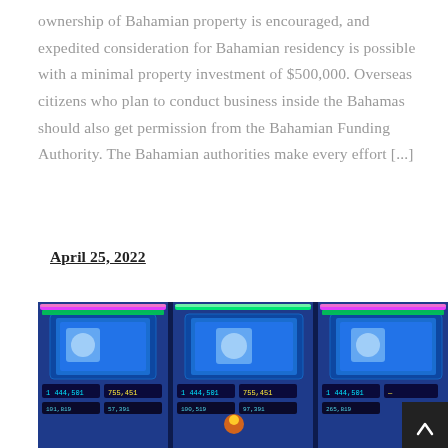ownership of Bahamian property is encouraged, and expedited consideration for Bahamian residency is possible with a minimal property investment of $500,000. Overseas citizens who plan to conduct business inside the Bahamas should also get permission from the Bahamian Funding Authority. The Bahamian authorities make every effort [...]
April 25, 2022
[Figure (photo): Photo of casino slot machines with colorful LED lighting (green, pink, blue) showing credit displays reading amounts like 1,444,501 and 755,451]